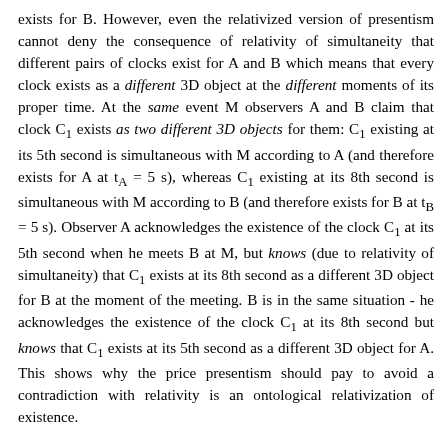exists for B. However, even the relativized version of presentism cannot deny the consequence of relativity of simultaneity that different pairs of clocks exist for A and B which means that every clock exists as a different 3D object at the different moments of its proper time. At the same event M observers A and B claim that clock C1 exists as two different 3D objects for them: C1 existing at its 5th second is simultaneous with M according to A (and therefore exists for A at tA = 5 s), whereas C1 existing at its 8th second is simultaneous with M according to B (and therefore exists for B at tB = 5 s). Observer A acknowledges the existence of the clock C1 at its 5th second when he meets B at M, but knows (due to relativity of simultaneity) that C1 exists at its 8th second as a different 3D object for B at the moment of the meeting. B is in the same situation - he acknowledges the existence of the clock C1 at its 8th second but knows that C1 exists at its 5th second as a different 3D object for A. This shows why the price presentism should pay to avoid a contradiction with relativity is an ontological relativization of existence.